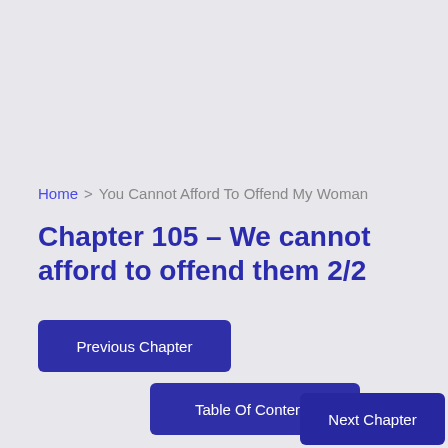Home > You Cannot Afford To Offend My Woman
Chapter 105 – We cannot afford to offend them 2/2
Previous Chapter
Table Of Contents
Next Chapter